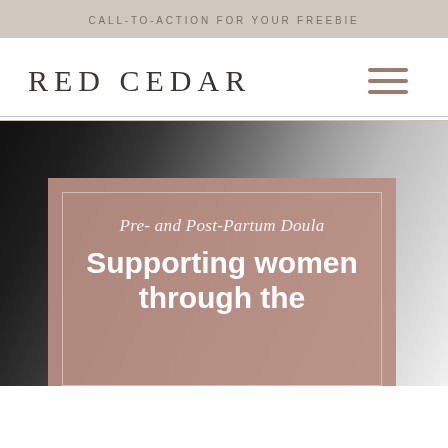CALL-TO-ACTION FOR YOUR FREEBIE
RED CEDAR
[Figure (illustration): Hamburger menu icon with three horizontal lines in mauve/taupe color]
[Figure (photo): Black and white photo of a person (partially visible), with a large mauve/taupe overlay box containing text. The overlay has an inner border outline.]
Pre- and Post-Partum Doula
Supporting women through the